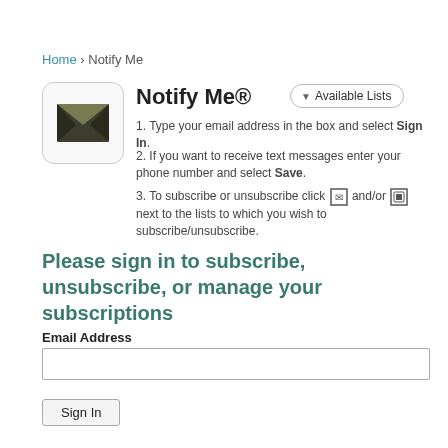Home › Notify Me
Notify Me®
1. Type your email address in the box and select Sign In.
2. If you want to receive text messages enter your phone number and select Save.
3. To subscribe or unsubscribe click [email icon] and/or [phone icon] next to the lists to which you wish to subscribe/unsubscribe.
Please sign in to subscribe, unsubscribe, or manage your subscriptions
Email Address
Sign In